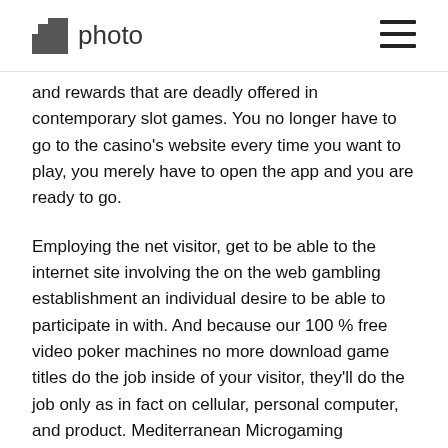photo
and rewards that are deadly offered in contemporary slot games. You no longer have to go to the casino's website every time you want to play, you merely have to open the app and you are ready to go.
Employing the net visitor, get to be able to the internet site involving the on the web gambling establishment an individual desire to be able to participate in with. And because our 100 % free video poker machines no more download game titles do the job inside of your visitor, they'll do the job only as in fact on cellular, personal computer, and product. Mediterranean Microgaming company delivers their prominent Atomic 8's and Untamed Bengal Tiger slots, another United kingdom creating Playtech present you Minimal Britain and the In terms of iron Man slots.
Mega Moolab slot is normally perceived as to be